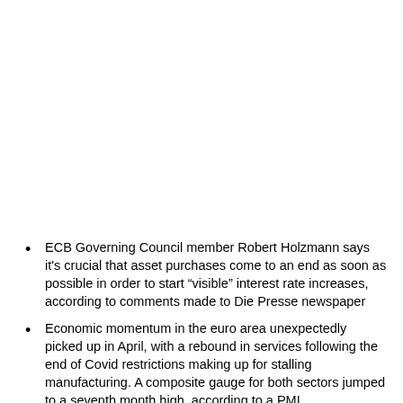ECB Governing Council member Robert Holzmann says it's crucial that asset purchases come to an end as soon as possible in order to start “visible” interest rate increases, according to comments made to Die Presse newspaper
Economic momentum in the euro area unexpectedly picked up in April, with a rebound in services following the end of Covid restrictions making up for stalling manufacturing. A composite gauge for both sectors jumped to a seventh month high, according to a PMI s… c… S…